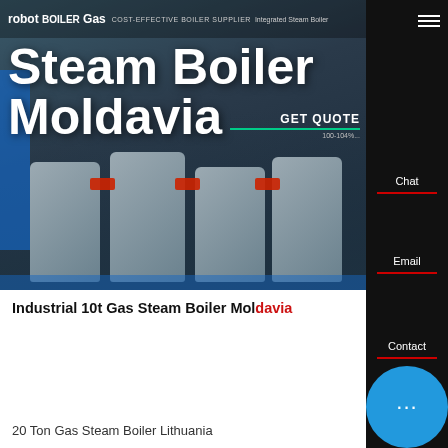[Figure (screenshot): Website hero banner for a gas steam boiler supplier showing industrial boilers in the background with a dark blue overlay]
robot BOILER Gas | COST-EFFECTIVE BOILER SUPPLIER | Integrated Steam Boiler
Steam Boiler Moldavia
GET QUOTE
Chat
Email
Contact
Industrial 10t Gas Steam Boiler Moldavia
Contact us now!
HOT NEWS
Hey, we are live 24/7. How may I help you?
20 Ton Gas Steam Boiler Lithuania